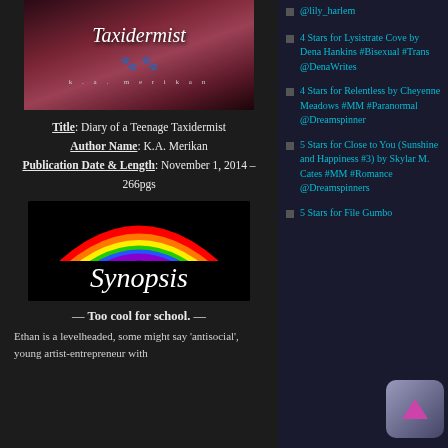[Figure (photo): Book cover for 'Diary of a Teenage Taxidermist' by K.A. Merikan — dark reddish-brown tones with italic cursive title and small decorative elements]
Title: Diary of a Teenage Taxidermist
Author Name: K.A. Merikan
Publication Date & Length: November 1, 2014 – 266pgs
[Figure (illustration): Black background image with a colorful rainbow arc and white cursive text reading 'Synopsis']
— Too cool for school. —
Ethan is a levelheaded, some might say 'antisocial', young artist-entrepreneur with
4 Stars for Lysistrate Cove by Dena Hankins #Bisexual #Trans @DenaWrites
4 Stars for Relentless by Cheyenne Meadows #MM #Paranormal @Dreamspinner
5 Stars for Close to You (Sunshine and Happiness #3) by Skylar M. Cates #MM #Romance @Dreamspinners
5 Stars for File Gumbo